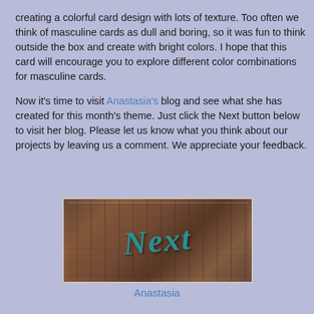creating a colorful card design with lots of texture. Too often we think of masculine cards as dull and boring, so it was fun to think outside the box and create with bright colors. I hope that this card will encourage you to explore different color combinations for masculine cards.

Now it's time to visit Anastasia's blog and see what she has created for this month's theme. Just click the Next button below to visit her blog. Please let us know what you think about our projects by leaving us a comment. We appreciate your feedback.
[Figure (photo): A wooden plank background with teal/turquoise cursive 'Next' text displayed as a decorative button image with burlap/string texture overlay]
Anastasia